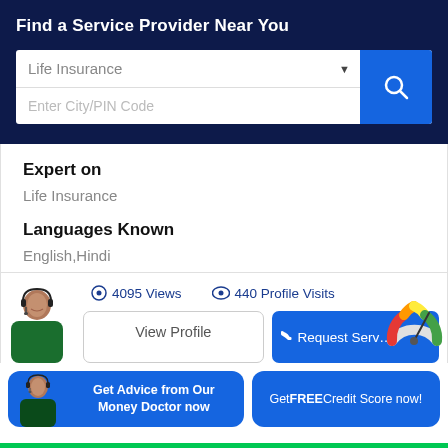Find a Service Provider Near You
Life Insurance (dropdown)
Enter City/PIN Code
Expert on
Life Insurance
Languages Known
English,Hindi
4095 Views
440 Profile Visits
View Profile
Request Serv…
Get Advice from Our Money Doctor now
Get FREE Credit Score now!